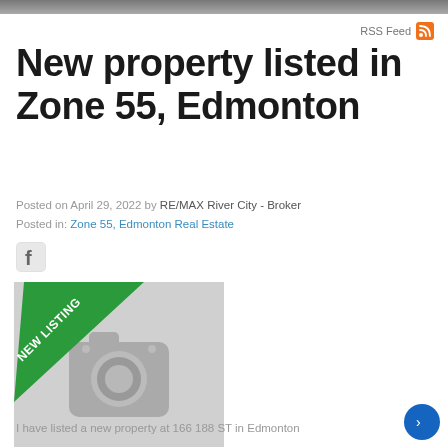RSS Feed
New property listed in Zone 55, Edmonton
Posted on April 29, 2022 by RE/MAX River City - Broker
Posted in: Zone 55, Edmonton Real Estate
[Figure (logo): Facebook icon (square with f logo)]
[Figure (photo): Placeholder image with camera icon and green NEW LISTING diagonal banner]
I have listed a new property at 166 188 ST in Edmonton